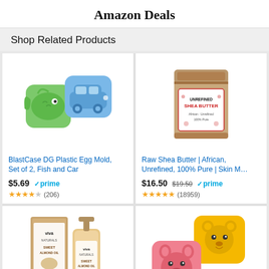Amazon Deals
Shop Related Products
[Figure (photo): BlastCase DG Plastic Egg Mold, Set of 2, Fish and Car - green fish-shaped and blue car-shaped silicone egg molds]
BlastCase DG Plastic Egg Mold, Set of 2, Fish and Car
$5.69 ✓prime, 3.5 stars (206) reviews
[Figure (photo): Raw Shea Butter African Unrefined 100% Pure Skin M... - brown kraft paper bag with label]
Raw Shea Butter | African, Unrefined, 100% Pure | Skin M...
$16.50 $19.50 ✓prime, 4.5 stars (18959) reviews
[Figure (photo): Viva sweet almond oil product bottles]
[Figure (photo): Yellow bear and pink pig shaped egg molds]